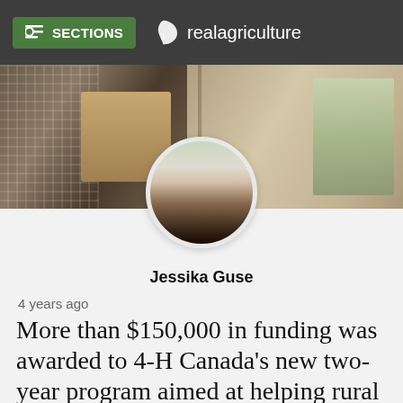SECTIONS  realagriculture
[Figure (photo): Banner image showing a collage of agricultural scenes with a circular profile photo of Jessika Guse overlaid in the center]
Jessika Guse
4 years ago
More than $150,000 in funding was awarded to 4-H Canada's new two-year program aimed at helping rural youth fo...